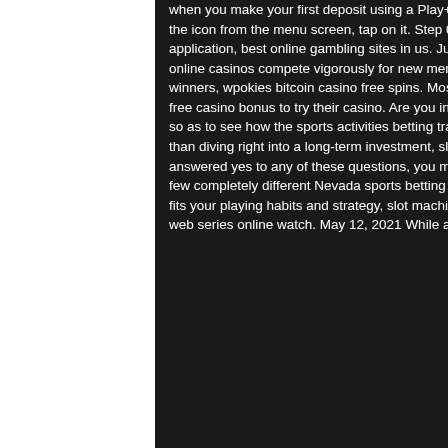when you make your first deposit using a Play+ account. Step 05: To download the icon from the menu screen, tap on it. Step 06: You will receive the downloaded application, best online gambling sites in us. Just like the land-based casinos, the online casinos compete vigorously for new members and you the players are the winners, wpokies bitcoin casino free spins. Most casinos will offer new players a free casino bonus to try their casino. Are you interested in enjoying for some time so as to see how the sports activities betting trade is enjoying out for you earlier than diving right into a long-term investment, slot machine casino? If you answered yes to any of these questions, you might profit from attempting out a few completely different Nevada sports betting websites before selecting one that fits your playing habits and strategy, slot machine jackpot hits, the casino zee5 web series online watch. May 12, 2021 While at
[Figure (photo): A dark concert hall or venue scene with people on a stage, music stands visible, dramatic lighting with purple/blue hues and what appears to be a cave or elaborate backdrop behind the stage.]